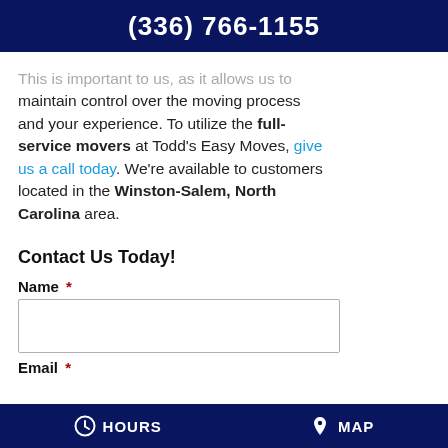(336) 766-1155
This is important to us, as it allows us to maintain control over the moving process and your experience. To utilize the full-service movers at Todd's Easy Moves, give us a call today. We're available to customers located in the Winston-Salem, North Carolina area.
Contact Us Today!
Name *
Email *
HOURS   MAP